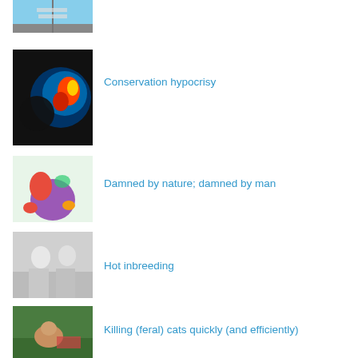[Figure (photo): Aerial or sky scene with signpost, blue sky and clouds]
[Figure (photo): False-color satellite image of Earth showing heat/ozone data, person silhouette]
Conservation hypocrisy
[Figure (illustration): Cartoon illustration of colorful bird-like characters]
Damned by nature; damned by man
[Figure (photo): Black and white photo of two people sitting together]
Hot inbreeding
[Figure (photo): Feral cats in jungle/garden setting]
Killing (feral) cats quickly (and efficiently)